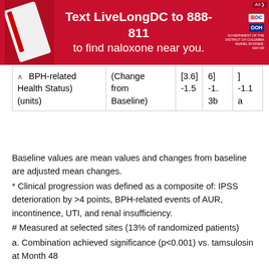[Figure (other): Red banner advertisement: 'Text LiveLongDC to 888-811 to find naloxone near you.' with DC government logos and image of naloxone pen on left.]
| BPH-related Health Status (units) | (Change from Baseline) | [3.6] | 6] | ] |
| --- | --- | --- | --- | --- |
|  |  | -1.5 | -1.3b | -1.1a |
Baseline values are mean values and changes from baseline are adjusted mean changes.
* Clinical progression was defined as a composite of: IPSS deterioration by >4 points, BPH-related events of AUR, incontinence, UTI, and renal insufficiency.
# Measured at selected sites (13% of randomized patients)
a. Combination achieved significance (p<0.001) vs. tamsulosin at Month 48